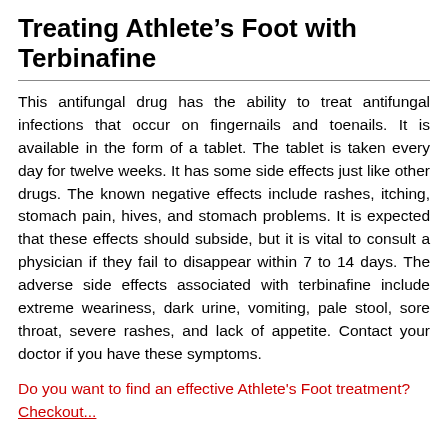Treating Athlete’s Foot with Terbinafine
This antifungal drug has the ability to treat antifungal infections that occur on fingernails and toenails. It is available in the form of a tablet. The tablet is taken every day for twelve weeks. It has some side effects just like other drugs. The known negative effects include rashes, itching, stomach pain, hives, and stomach problems. It is expected that these effects should subside, but it is vital to consult a physician if they fail to disappear within 7 to 14 days. The adverse side effects associated with terbinafine include extreme weariness, dark urine, vomiting, pale stool, sore throat, severe rashes, and lack of appetite. Contact your doctor if you have these symptoms.
Do you want to find an effective Athlete's Foot treatment? Checkout...